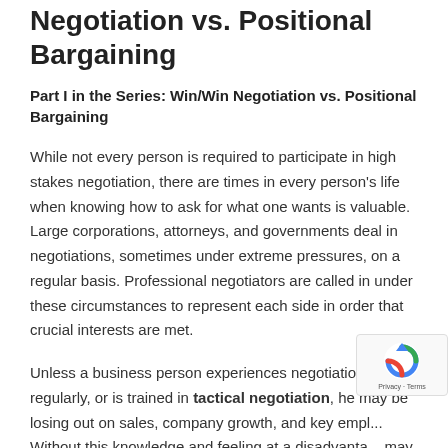Negotiation vs. Positional Bargaining
Part I in the Series: Win/Win Negotiation vs. Positional Bargaining
While not every person is required to participate in high stakes negotiation, there are times in every person's life when knowing how to ask for what one wants is valuable. Large corporations, attorneys, and governments deal in negotiations, sometimes under extreme pressures, on a regular basis. Professional negotiators are called in under these circumstances to represent each side in order that crucial interests are met.
Unless a business person experiences negotiations regularly, or is trained in tactical negotiation, he may be losing out on sales, company growth, and key empl... Without this knowledge and feeling at a disadvanta... may be tempted to attempt tactics that he would not